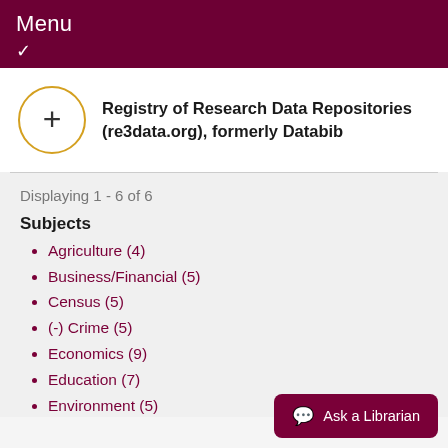Menu
Registry of Research Data Repositories (re3data.org), formerly Databib
Displaying 1 - 6 of 6
Subjects
Agriculture (4)
Business/Financial (5)
Census (5)
(-) Crime (5)
Economics (9)
Education (7)
Environment (5)
Ask a Librarian